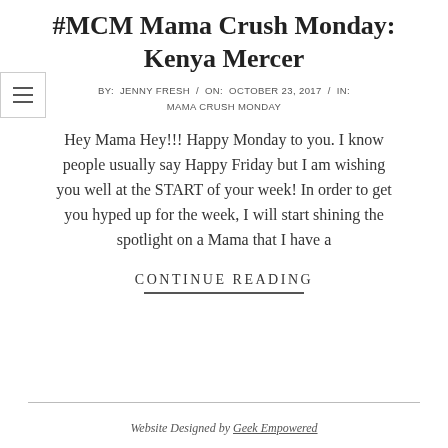#MCM Mama Crush Monday: Kenya Mercer
BY:  JENNY FRESH  /  ON:  OCTOBER 23, 2017  /  IN:  MAMA CRUSH MONDAY
Hey Mama Hey!!! Happy Monday to you. I know people usually say Happy Friday but I am wishing you well at the START of your week! In order to get you hyped up for the week, I will start shining the spotlight on a Mama that I have a
CONTINUE READING
Website Designed by Geek Empowered